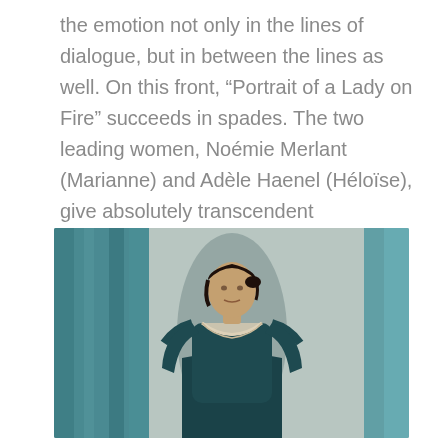the emotion not only in the lines of dialogue, but in between the lines as well. On this front, “Portrait of a Lady on Fire” succeeds in spades. The two leading women, Noémie Merlant (Marianne) and Adèle Haenel (Héloïse), give absolutely transcendent performances.
[Figure (photo): A woman with dark hair pulled back, wearing a dark teal/green period dress with white lace neckline, standing in front of teal curtains and a neutral background. Still from the film 'Portrait of a Lady on Fire'.]